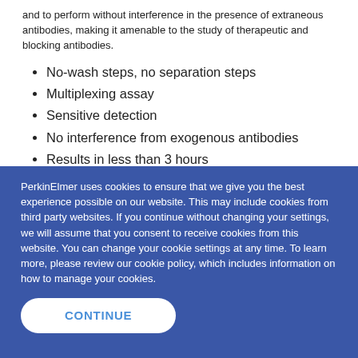and to perform without interference in the presence of extraneous antibodies, making it amenable to the study of therapeutic and blocking antibodies.
No-wash steps, no separation steps
Multiplexing assay
Sensitive detection
No interference from exogenous antibodies
Results in less than 3 hours
PerkinElmer uses cookies to ensure that we give you the best experience possible on our website. This may include cookies from third party websites. If you continue without changing your settings, we will assume that you consent to receive cookies from this website. You can change your cookie settings at any time. To learn more, please review our cookie policy, which includes information on how to manage your cookies.
...d with this product? Please let us know »
CONTINUE